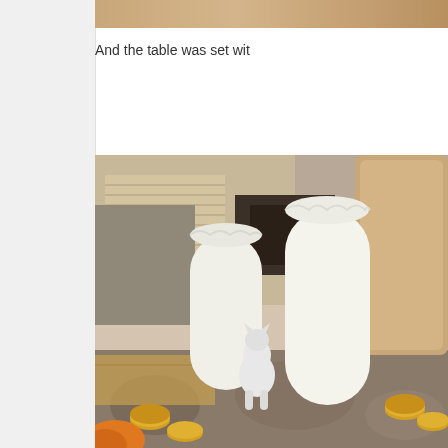[Figure (photo): Top strip showing a partial warm brown/orange background image, cropped at top of page]
And the table was set wit
[Figure (photo): Photo of a dining table set with two tall white flameless pillar candles, a small white cat figurine between them, gold coin decorations scattered on a decorative tablecloth, with chairs and room interior visible in background]